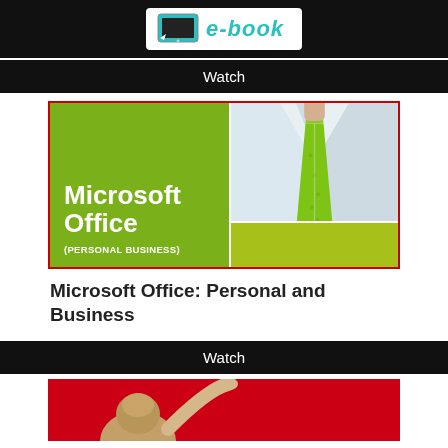e-book
Watch
[Figure (illustration): Microsoft Office: Personal and Business book cover. Left half is olive/lime green with white bold text reading 'Microsoft Office (PERSONAL BUSINESS)'. Right top half shows a person in a white shirt with a lime green tie. Right bottom is a green strip.]
Microsoft Office: Personal and Business
Watch
[Figure (photo): Partial photo on red background showing a person with hair in a bun raising their arm/hand.]